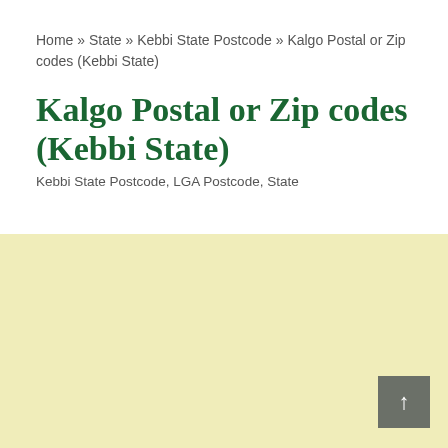Home » State » Kebbi State Postcode » Kalgo Postal or Zip codes (Kebbi State)
Kalgo Postal or Zip codes (Kebbi State)
Kebbi State Postcode, LGA Postcode, State